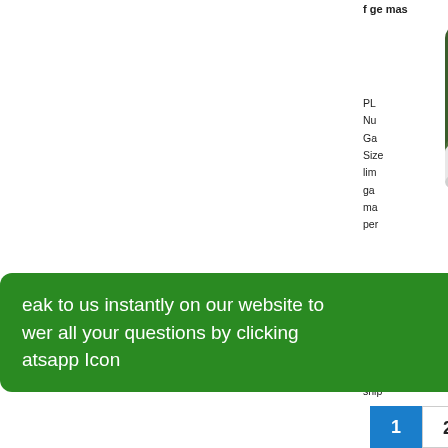[Figure (photo): Green cream jar product with white lid, partially cropped, showing NET WT. 12fl oz label]
f
ge
mas
PL
Nu
Ga
Size
lim
ga
ma
per
[Figure (other): Blue 'ADD TO CART' button with shopping bag icon]
ship
eak to us instantly on our website to
wer all your questions by clicking
atsapp Icon
[Figure (logo): WhatsApp green circle icon]
1   2   >